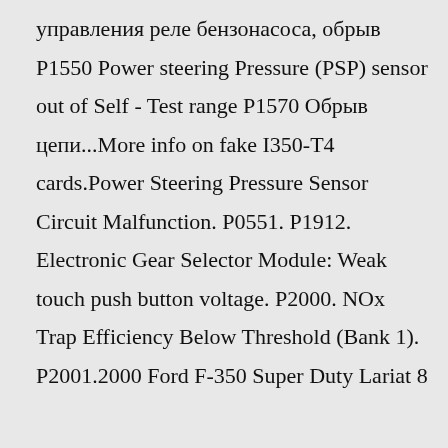управления реле бензонасоса, обрыв P1550 Power steering Pressure (PSP) sensor out of Self - Test range P1570 Обрыв цепи...More info on fake I350-T4 cards.Power Steering Pressure Sensor Circuit Malfunction. P0551. P1912. Electronic Gear Selector Module: Weak touch push button voltage. P2000. NOx Trap Efficiency Below Threshold (Bank 1). P2001.2000 Ford F-350 Super Duty Lariat 8